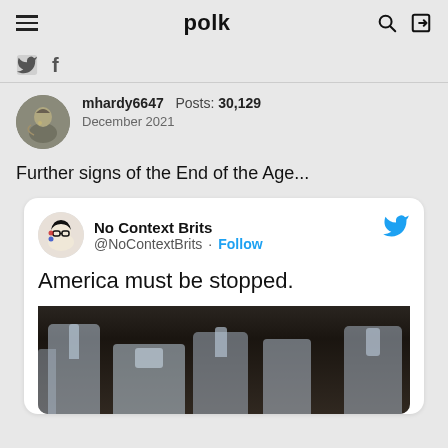polk
mhardy6647  Posts: 30,129  December 2021
Further signs of the End of the Age...
[Figure (screenshot): Embedded tweet from @NoContextBrits saying 'America must be stopped.' with an image of plastic bottle caps/pump dispensers below.]